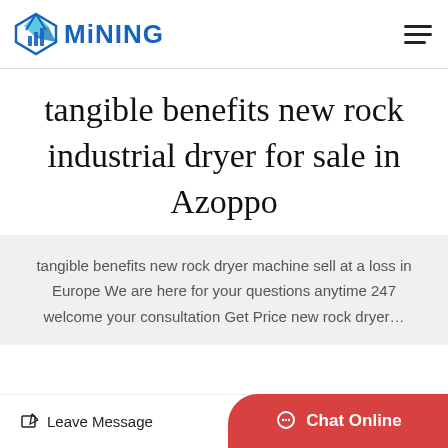MINING
tangible benefits new rock industrial dryer for sale in Azoppo
tangible benefits new rock dryer machine sell at a loss in Europe We are here for your questions anytime 247 welcome your consultation Get Price new rock dryer...
Leave Message  Chat Online